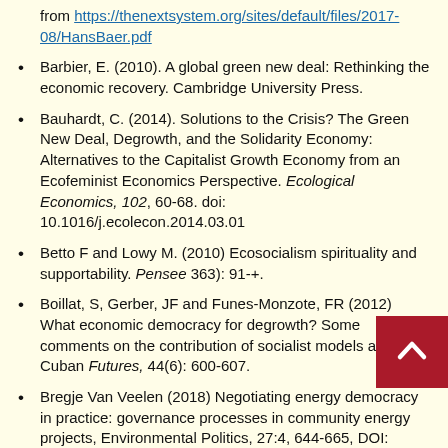from https://thenextsystem.org/sites/default/files/2017-08/HansBaer.pdf
Barbier, E. (2010). A global green new deal: Rethinking the economic recovery. Cambridge University Press.
Bauhardt, C. (2014). Solutions to the Crisis? The Green New Deal, Degrowth, and the Solidarity Economy: Alternatives to the Capitalist Growth Economy from an Ecofeminist Economics Perspective. Ecological Economics, 102, 60-68. doi: 10.1016/j.ecolecon.2014.03.01
Betto F and Lowy M. (2010) Ecosocialism spirituality and supportability. Pensee 363): 91-+.
Boillat, S, Gerber, JF and Funes-Monzote, FR (2012) What economic democracy for degrowth? Some comments on the contribution of socialist models and Cuban Futures, 44(6): 600-607.
Bregje Van Veelen (2018) Negotiating energy democracy in practice: governance processes in community energy projects, Environmental Politics, 27:4, 644-665, DOI: https://doi.org/10.1080/09644016.2018.1427824